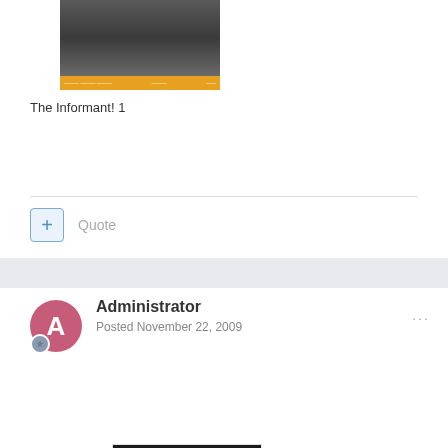[Figure (photo): Movie poster/image for The Informant! with orange bar at bottom]
The Informant! 1
Quote
Administrator
Posted November 22, 2009
[Figure (photo): Bingo image showing $300,000,000 Worldwide Box Office with THAT'S A BINGO! text and movie characters]